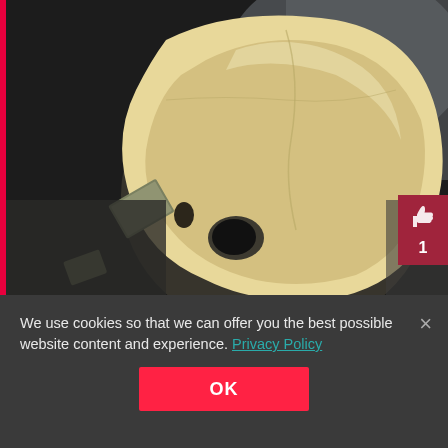[Figure (photo): A human skull displayed against a dark grey/black background. The skull is viewed from above and slightly to the side, showing the cranium. There is a small label tag near the left and a pink/red thumbs-up badge on the right side with the number 1.]
We use cookies so that we can offer you the best possible website content and experience. Privacy Policy
OK